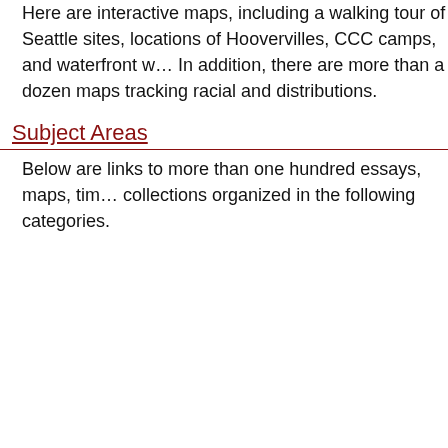Here are interactive maps, including a walking tour of Seattle sites, locations of Hoovervilles, CCC camps, and waterfront w... In addition, there are more than a dozen maps tracking racial and distributions.
Subject Areas
Below are links to more than one hundred essays, maps, ti... collections organized in the following categories.